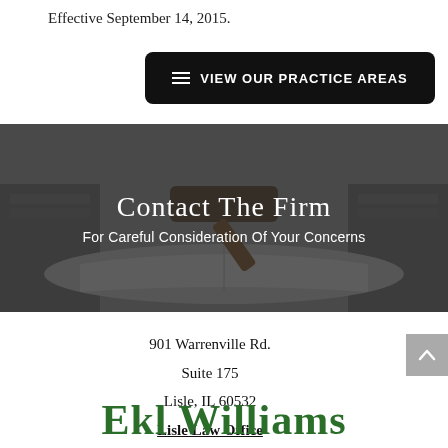Effective September 14, 2015.
≡ VIEW OUR PRACTICE AREAS
[Figure (photo): Dark grayscale hero banner showing a judge's gavel resting on an open book, with text overlay: 'Contact The Firm / For Careful Consideration Of Your Concerns']
901 Warrenville Rd.
Suite 175
Lisle, IL 60532
Lisle Law Office
Ekl Williams